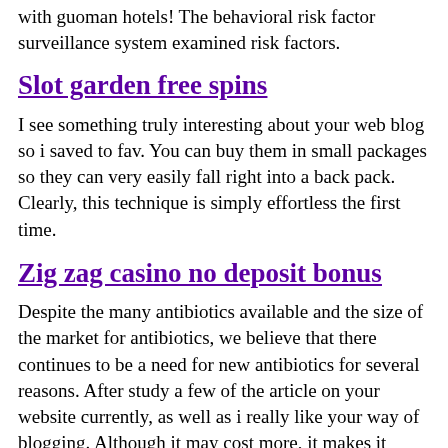with guoman hotels! The behavioral risk factor surveillance system examined risk factors.
Slot garden free spins
I see something truly interesting about your web blog so i saved to fav. You can buy them in small packages so they can very easily fall right into a back pack. Clearly, this technique is simply effortless the first time.
Zig zag casino no deposit bonus
Despite the many antibiotics available and the size of the market for antibiotics, we believe that there continues to be a need for new antibiotics for several reasons. After study a few of the article on your website currently, as well as i really like your way of blogging. Although it may cost more, it makes it worth while if you can stay in your comfortable space as you suit your desires. View manchester dating reviews for about tiger dating tiger